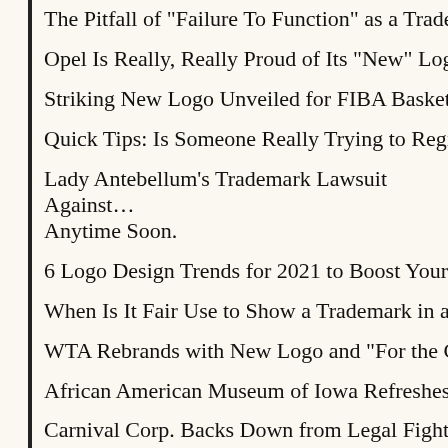The Pitfall of "Failure To Function" as a Tradem…
Opel Is Really, Really Proud of Its "New" Logo.
Striking New Logo Unveiled for FIBA Basketba…
Quick Tips: Is Someone Really Trying to Regist…
Lady Antebellum's Trademark Lawsuit Against… Anytime Soon.
6 Logo Design Trends for 2021 to Boost Your B…
When Is It Fair Use to Show a Trademark in a F…
WTA Rebrands with New Logo and "For the Ga…
African American Museum of Iowa Refreshes W…
Carnival Corp. Backs Down from Legal Fight w…
Reinsurer Must Represent Waste Firm in Tradem…
Dogged Determination.